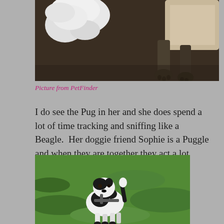[Figure (photo): Close-up photo of a dog's white fluffy tail and paws/feet resting near a beige blanket on a dark background]
Picture from PetFinder
I do see the Pug in her and she does spend a lot of time tracking and sniffing like a Beagle.  Her doggie friend Sophie is a Puggle and when they are together they act a lot alike.
[Figure (photo): A small black and white dog standing on green grass wearing a harness, with tail raised]